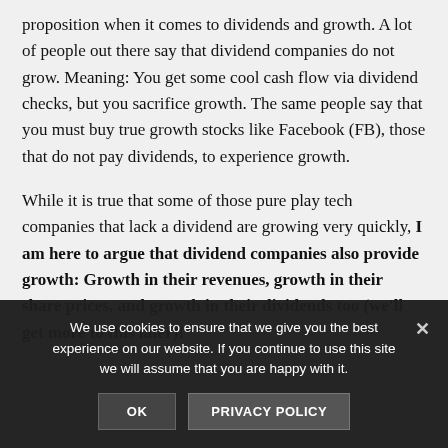proposition when it comes to dividends and growth. A lot of people out there say that dividend companies do not grow. Meaning: You get some cool cash flow via dividend checks, but you sacrifice growth. The same people say that you must buy true growth stocks like Facebook (FB), those that do not pay dividends, to experience growth.
While it is true that some of those pure play tech companies that lack a dividend are growing very quickly, I am here to argue that dividend companies also provide growth: Growth in their revenues, growth in their share prices, and growth in their dividends too (we'll get more to this later)!
We use cookies to ensure that we give you the best experience on our website. If you continue to use this site we will assume that you are happy with it.